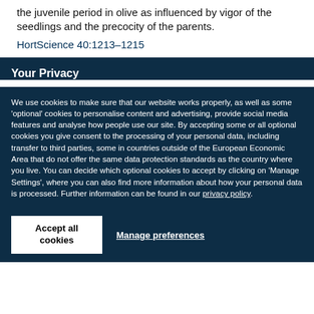the juvenile period in olive as influenced by vigor of the seedlings and the precocity of the parents.
HortScience 40:1213–1215
Your Privacy
We use cookies to make sure that our website works properly, as well as some 'optional' cookies to personalise content and advertising, provide social media features and analyse how people use our site. By accepting some or all optional cookies you give consent to the processing of your personal data, including transfer to third parties, some in countries outside of the European Economic Area that do not offer the same data protection standards as the country where you live. You can decide which optional cookies to accept by clicking on 'Manage Settings', where you can also find more information about how your personal data is processed. Further information can be found in our privacy policy.
Accept all cookies
Manage preferences